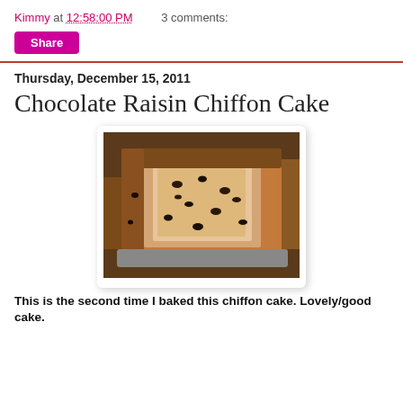Kimmy at 12:58:00 PM    3 comments:
Share
Thursday, December 15, 2011
Chocolate Raisin Chiffon Cake
[Figure (photo): A close-up photo of a slice of chocolate raisin chiffon cake showing a tan interior with dark raisins scattered throughout, surrounded by the darker brown crust of the cake.]
This is the second time I baked this chiffon cake.  Lovely/good cake.